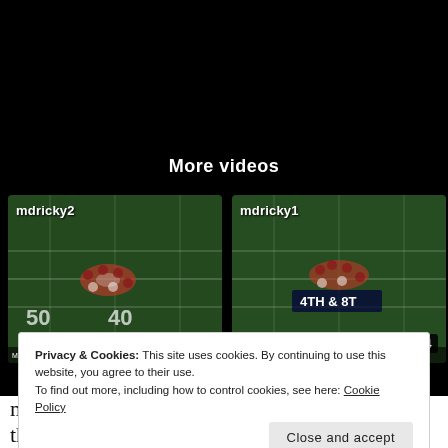More videos
[Figure (screenshot): Video thumbnail showing football game aerial view, labeled 'mdricky2', duration 0:19]
[Figure (screenshot): Video thumbnail showing football game aerial view, labeled 'mdricky1', duration 0:24]
Privacy & Cookies: This site uses cookies. By continuing to use this website, you agree to their use.
To find out more, including how to control cookies, see here: Cookie Policy
Close and accept
mixed assignments, and missed reads, although they